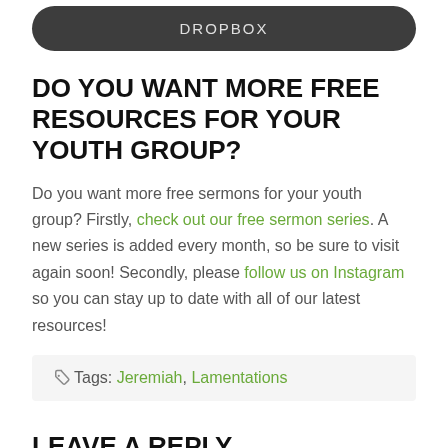[Figure (other): Dark rounded button with the text DROPBOX in light grey uppercase letters]
DO YOU WANT MORE FREE RESOURCES FOR YOUR YOUTH GROUP?
Do you want more free sermons for your youth group? Firstly, check out our free sermon series. A new series is added every month, so be sure to visit again soon! Secondly, please follow us on Instagram so you can stay up to date with all of our latest resources!
Tags: Jeremiah, Lamentations
LEAVE A REPLY